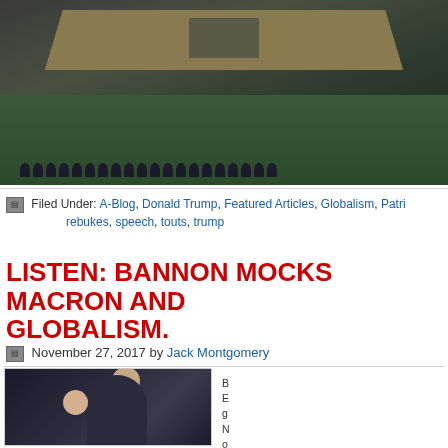[Figure (photo): Photo of UN General Assembly hall with speaker at podium, audience seated in semicircular arrangement, green carpet floor, gold-toned walls]
Filed Under: A-Blog, Donald Trump, Featured Articles, Globalism, Patri... rebukes, speech, touts, trump
LISTEN: BANNON MOCKS MACRON AND GLOBALISM.
November 27, 2017 by Jack Montgomery
[Figure (photo): Photo of two people, one seen from behind with light hair, the other facing forward]
B... E... g... N... o...